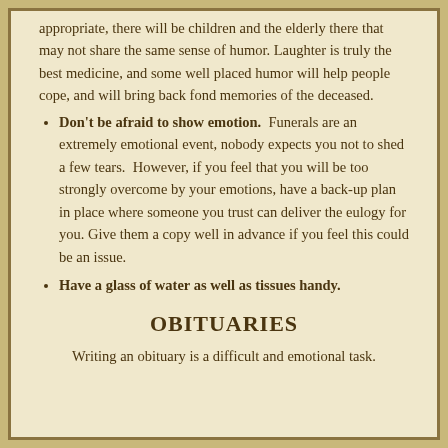appropriate, there will be children and the elderly there that may not share the same sense of humor. Laughter is truly the best medicine, and some well placed humor will help people cope, and will bring back fond memories of the deceased.
Don't be afraid to show emotion.  Funerals are an extremely emotional event, nobody expects you not to shed a few tears.  However, if you feel that you will be too strongly overcome by your emotions, have a back-up plan in place where someone you trust can deliver the eulogy for you. Give them a copy well in advance if you feel this could be an issue.
Have a glass of water as well as tissues handy.
OBITUARIES
Writing an obituary is a difficult and emotional task.